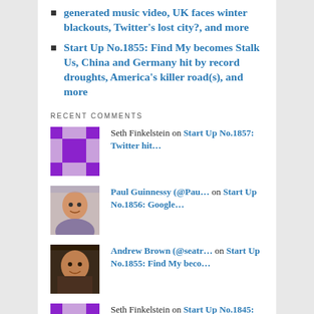generated music video, UK faces winter blackouts, Twitter’s lost city?, and more
Start Up No.1855: Find My becomes Stalk Us, China and Germany hit by record droughts, America’s killer road(s), and more
RECENT COMMENTS
Seth Finkelstein on Start Up No.1857: Twitter hit…
Paul Guinnessy (@Pau… on Start Up No.1856: Google…
Andrew Brown (@seatr… on Start Up No.1855: Find My beco…
Seth Finkelstein on Start Up No.1845: inside Newpo…
Seth Finkelstein on Start Up No.1819: Musk wants a…